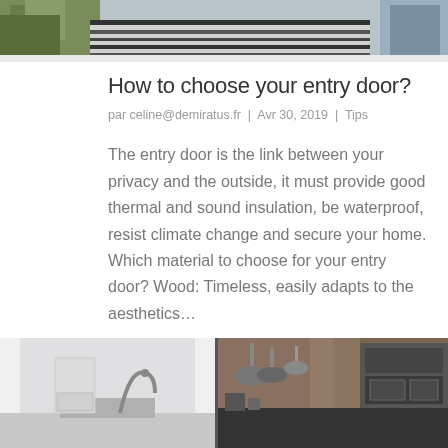[Figure (photo): Top portion of an outdoor/indoor scene with plants and striped rug or flooring, partially visible at top of page]
How to choose your entry door?
par celine@demiratus.fr | Avr 30, 2019 | Tips
The entry door is the link between your privacy and the outside, it must provide good thermal and sound insulation, be waterproof, resist climate change and secure your home. Which material to choose for your entry door? Wood: Timeless, easily adapts to the aesthetics…
[Figure (photo): Kitchen interior showing modern sink with arched faucet on left side and kitchen utensils/cookware with oven in background on right side]